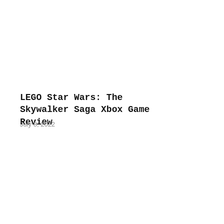LEGO Star Wars: The Skywalker Saga Xbox Game Review
July 8, 2022